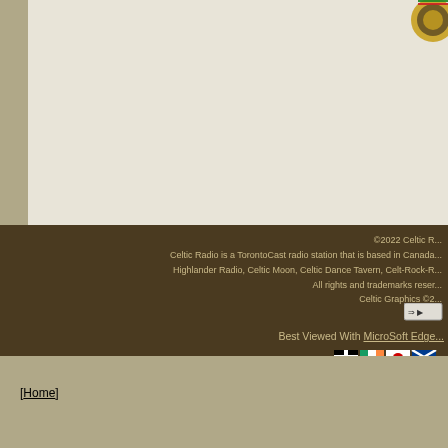[Figure (illustration): Celtic Radio logo graphic in top-right corner, partially visible]
©2022 Celtic R... Celtic Radio is a TorontoCast radio station that is based in Canada... Highlander Radio, Celtic Moon, Celtic Dance Tavern, Celt-Rock-R... All rights and trademarks reser... Celtic Graphics ©2...
[Figure (illustration): Translate button widget]
[Figure (illustration): Celtic nation flags row: Cornish, Irish, Welsh, Scottish flags]
Link to Celtic...
[Figure (illustration): Statistics bar chart widget]
[Figure (logo): Cloudflare badge/logo]
Best Viewed With MicroSoft Edge...
[Home]